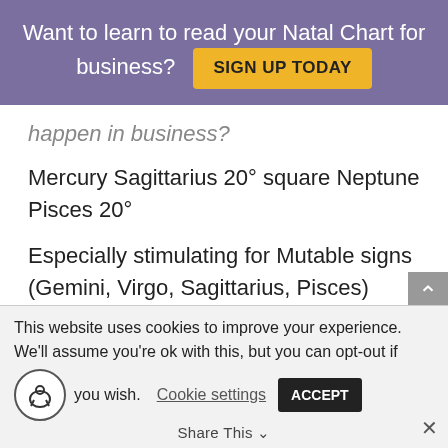Want to learn to read your Natal Chart for business? SIGN UP TODAY
happen in business?
Mercury Sagittarius 20° square Neptune Pisces 20°
Especially stimulating for Mutable signs (Gemini, Virgo, Sagittarius, Pisces)
Mars square Jupiter
10:21 PM Pacific | 1:21 AM + 1 Eastern
This website uses cookies to improve your experience. We'll assume you're ok with this, but you can opt-out if you wish. Cookie settings ACCEPT